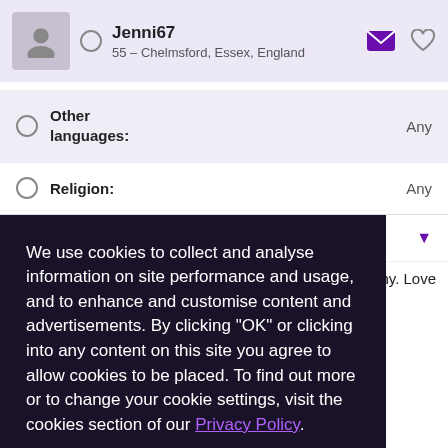Jenni67 – 55 – Chelmsford, Essex, England
Other languages: Any
Religion: Any
We use cookies to collect and analyse information on site performance and usage, and to enhance and customise content and advertisements. By clicking "OK" or clicking into any content on this site you agree to allow cookies to be placed. To find out more or to change your cookie settings, visit the cookies section of our Privacy Policy.
...otography. Love
...t home in front of an open fire with a glass of red wine.